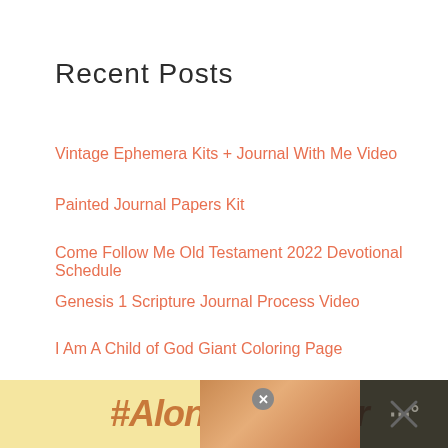Recent Posts
Vintage Ephemera Kits + Journal With Me Video
Painted Journal Papers Kit
Come Follow Me Old Testament 2022 Devotional Schedule
Genesis 1 Scripture Journal Process Video
I Am A Child of God Giant Coloring Page
Recent Comments
Julia on Doctrine and Covenants Copywork
[Figure (other): #AloneTogether advertisement banner at the bottom of the page, with a woman working on a laptop visible on the right side, and dark overlays on both far left and right edges.]